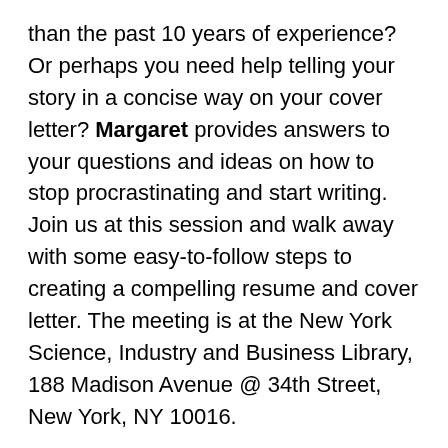than the past 10 years of experience? Or perhaps you need help telling your story in a concise way on your cover letter? Margaret provides answers to your questions and ideas on how to stop procrastinating and start writing. Join us at this session and walk away with some easy-to-follow steps to creating a compelling resume and cover letter. The meeting is at the New York Science, Industry and Business Library, 188 Madison Avenue @ 34th Street, New York, NY 10016.
Wednesday, January 8th, from 6:00 –